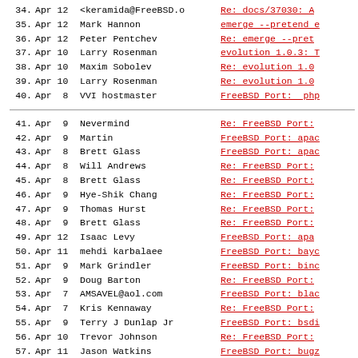34. Apr 12 <keramida@FreeBSD.o Re: docs/37030: A
35. Apr 12 Mark Hannon emerge --pretend e
36. Apr 12 Peter Pentchev Re: emerge --pret
37. Apr 10 Larry Rosenman evolution 1.0.3: T
38. Apr 10 Maxim Sobolev Re: evolution 1.0
39. Apr 10 Larry Rosenman Re: evolution 1.0
40. Apr  8 VVI hostmaster FreeBSD Port:  php
41. Apr  9 Nevermind Re: FreeBSD Port:
42. Apr  9 Martin FreeBSD Port: apac
43. Apr  8 Brett Glass FreeBSD Port: apac
44. Apr  8 Will Andrews Re: FreeBSD Port:
45. Apr  8 Brett Glass Re: FreeBSD Port:
46. Apr  9 Hye-Shik Chang Re: FreeBSD Port:
47. Apr  9 Thomas Hurst Re: FreeBSD Port:
48. Apr  9 Brett Glass Re: FreeBSD Port:
49. Apr 12 Isaac Levy FreeBSD Port: apa
50. Apr 11 mehdi karbalaee FreeBSD Port: bayc
51. Apr  9 Mark Grindler FreeBSD Port: binc
52. Apr  9 Doug Barton Re: FreeBSD Port:
53. Apr  7 AMSAVEL@aol.com FreeBSD Port: blac
54. Apr  7 Kris Kennaway Re: FreeBSD Port:
55. Apr  9 Terry J Dunlap Jr FreeBSD Port: bsdi
56. Apr 10 Trevor Johnson Re: FreeBSD Port:
57. Apr 11 Jason Watkins FreeBSD Port: bugz
58. Apr 11 Alexey Zelkin Re: FreeBSD Port